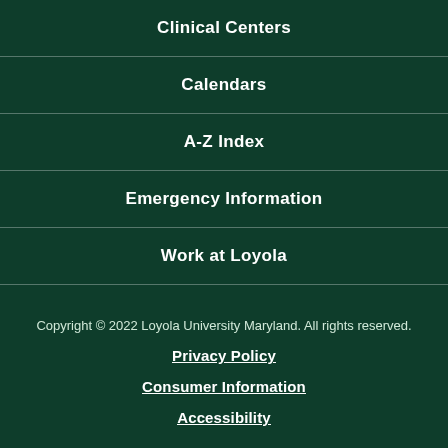Clinical Centers
Calendars
A-Z Index
Emergency Information
Work at Loyola
Copyright © 2022 Loyola University Maryland. All rights reserved.
Privacy Policy
Consumer Information
Accessibility